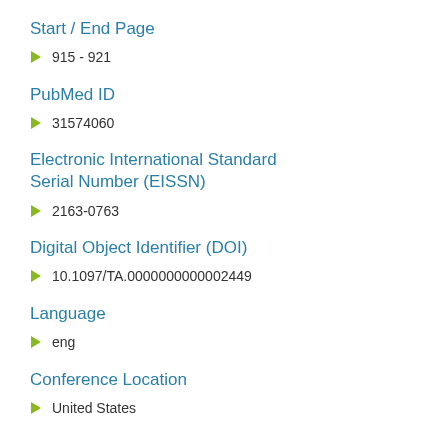Start / End Page
915 - 921
PubMed ID
31574060
Electronic International Standard Serial Number (EISSN)
2163-0763
Digital Object Identifier (DOI)
10.1097/TA.0000000000002449
Language
eng
Conference Location
United States